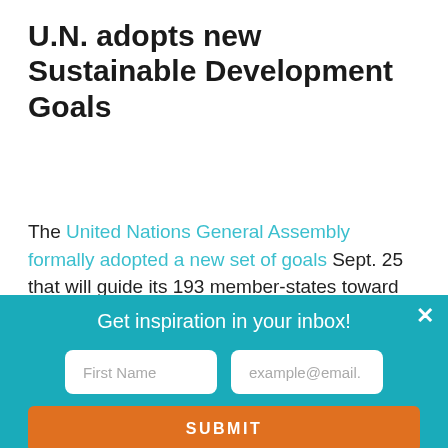U.N. adopts new Sustainable Development Goals
The United Nations General Assembly formally adopted a new set of goals Sept. 25 that will guide its 193 member-states toward eliminating poverty by 2030. The 2030 Agenda for Sustainable Development consists of 17 goals and 169 targets aimed at ending poverty, fighting inequality, and
Get inspiration in your inbox!
First Name
example@email.
SUBMIT